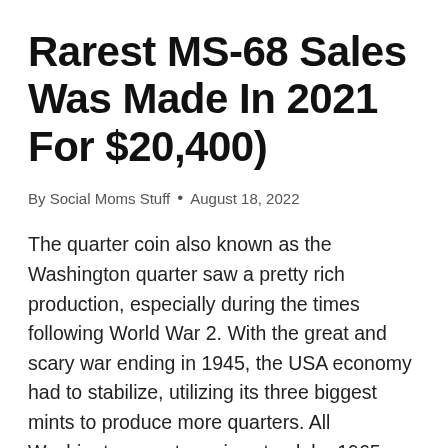Rarest MS-68 Sales Was Made In 2021 For $20,400)
By Social Moms Stuff • August 18, 2022
The quarter coin also known as the Washington quarter saw a pretty rich production, especially during the times following World War 2. With the great and scary war ending in 1945, the USA economy had to stabilize, utilizing its three biggest mints to produce more quarters. All Washington quarter coins struck by 1965 were made out of 90% silver, and the 1945 quarter